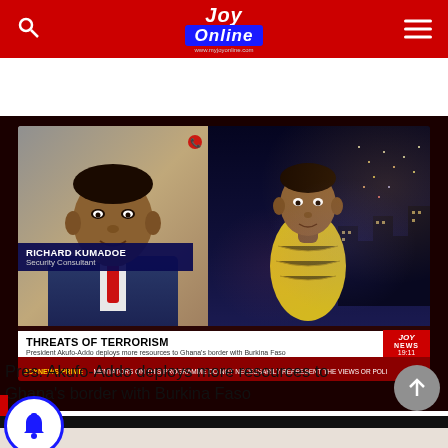JOY Online
[Figure (screenshot): JOY News TV screenshot showing a split screen: left side shows Richard Kumadoe (Security Consultant) in a suit via video call; right side shows a news anchor in a yellow outfit with city lights background. Lower-third headline reads 'THREATS OF TERRORISM — President Akufo-Addo deploys more resources to Ghana's border with Burkina Faso'. JOY NEWS bug shows 19:11. Ticker reads: JOYNEWS PRIME MENTATORS ON THIS PROGRAMME DO NOT NECESSARILY REPRESENT THE VIEWS OR POLI]
Pres. Akufo-Addo deploys more resources to Ghana's border with Burkina Faso